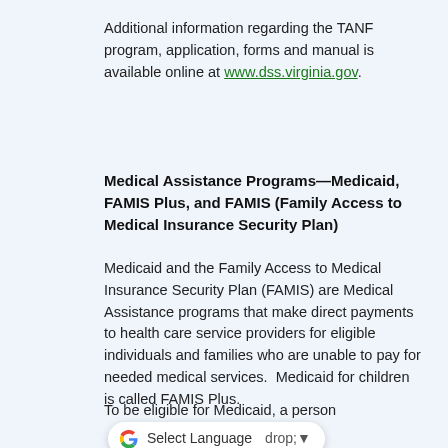Additional information regarding the TANF program, application, forms and manual is available online at www.dss.virginia.gov.
Medical Assistance Programs—Medicaid, FAMIS Plus, and FAMIS (Family Access to Medical Insurance Security Plan)
Medicaid and the Family Access to Medical Insurance Security Plan (FAMIS) are Medical Assistance programs that make direct payments to health care service providers for eligible individuals and families who are unable to pay for needed medical services.  Medicaid for children is called FAMIS Plus.
To be eligible for Medicaid, a person and resources (assets) within specified limits and must